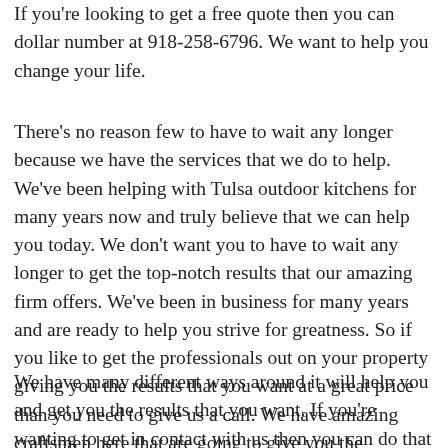If you're looking to get a free quote then you can dollar number at 918-258-6796. We want to help you change your life.
There's no reason few to have to wait any longer because we have the services that we do to help. We've been helping with Tulsa outdoor kitchens for many years now and truly believe that we can help you today. We don't want you to have to wait any longer to get the top-notch results that our amazing firm offers. We've been in business for many years and are ready to help you strive for greatness. So if you like to get the professionals out on your property giving you the results that you want at a great price than you need to give us a call. We have amazing craftsmen here that are going to give you the expertise that you truly desire.
We have many different ways around it will help you and get you the results that you want. If you're wanting to get in contact with us then you can do that anytime. We have amazing resources here that are going to get you the top-notch results and help you get information from...